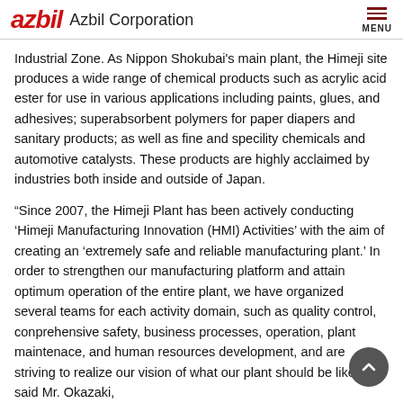azbil Azbil Corporation
Industrial Zone. As Nippon Shokubai's main plant, the Himeji site produces a wide range of chemical products such as acrylic acid ester for use in various applications including paints, glues, and adhesives; superabsorbent polymers for paper diapers and sanitary products; as well as fine and specility chemicals and automotive catalysts. These products are highly acclaimed by industries both inside and outside of Japan.
“Since 2007, the Himeji Plant has been actively conducting ‘Himeji Manufacturing Innovation (HMI) Activities’ with the aim of creating an ‘extremely safe and reliable manufacturing plant.’ In order to strengthen our manufacturing platform and attain optimum operation of the entire plant, we have organized several teams for each activity domain, such as quality control, conprehensive safety, business processes, operation, plant maintenace, and human resources development, and are striving to realize our vision of what our plant should be like.” said Mr. Okazaki.